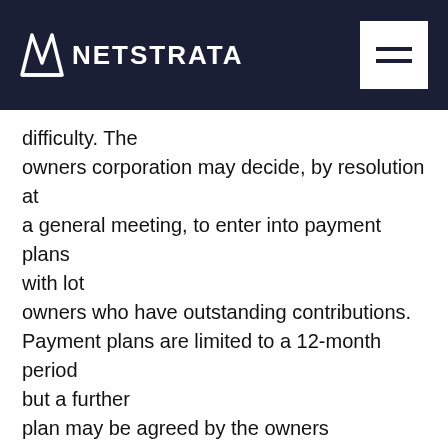NETSTRATA
difficulty. The owners corporation may decide, by resolution at a general meeting, to enter into payment plans with lot owners who have outstanding contributions. Payment plans are limited to a 12-month period but a further plan may be agreed by the owners corporation by resolution (section 85(5)). The legislation is silent on who pays for the additional administration costs associated with implementing a payment plan but the REINSW Exclusive Management Agency Agreement (Owners Corporation) (EM00500), which